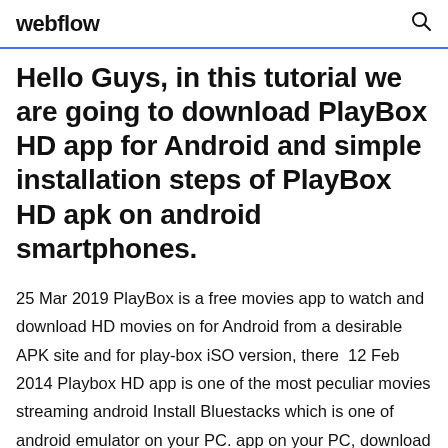webflow
Hello Guys, in this tutorial we are going to download PlayBox HD app for Android and simple installation steps of PlayBox HD apk on android smartphones.
25 Mar 2019 PlayBox is a free movies app to watch and download HD movies on for Android from a desirable APK site and for play-box iSO version, there  12 Feb 2014 Playbox HD app is one of the most peculiar movies streaming android Install Bluestacks which is one of android emulator on your PC. app on your PC, download the latest version of Playbox HD apk file to your computer. So, please stay away